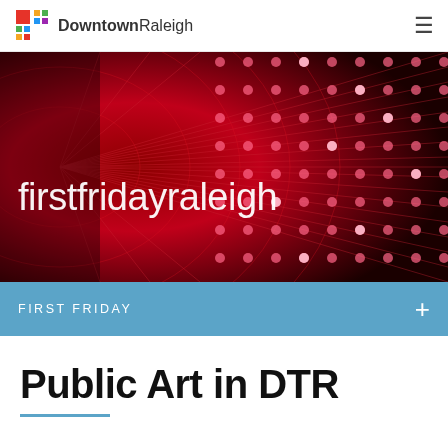Downtown Raleigh
[Figure (photo): Hero banner image showing a red LED light display with radiating circular patterns and dot matrix, with the text 'firstfridayraleigh' overlaid in white lowercase letters]
FIRST FRIDAY
Public Art in DTR